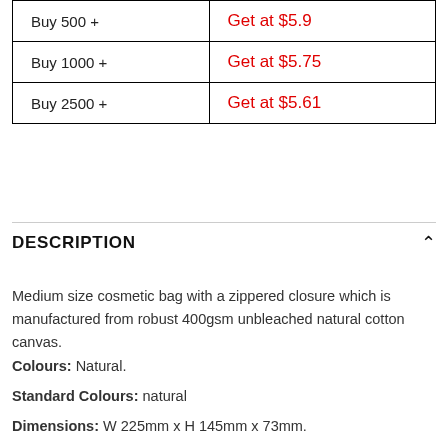| Quantity | Price |
| --- | --- |
| Buy 500 + | Get at $5.9 |
| Buy 1000 + | Get at $5.75 |
| Buy 2500 + | Get at $5.61 |
DESCRIPTION
Medium size cosmetic bag with a zippered closure which is manufactured from robust 400gsm unbleached natural cotton canvas.
Colours: Natural.
Standard Colours: natural
Dimensions: W 225mm x H 145mm x 73mm.